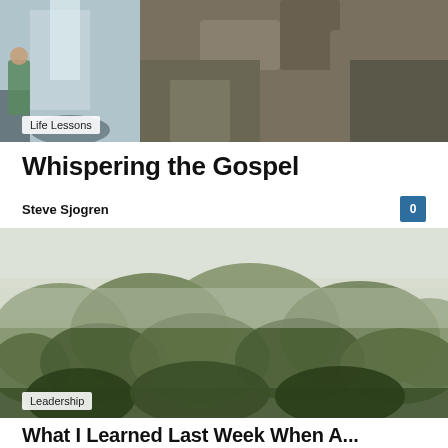[Figure (photo): Outdoor scene with waterfall and rocky cliff face, person visible on left side]
Life Lessons
Whispering the Gospel
Steve Sjogren
[Figure (photo): Outdoor misty forest scene with trees and foggy sky]
Leadership
What I Learned Last Week When A...